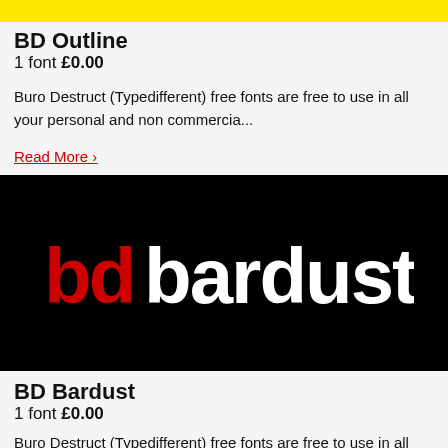[Figure (illustration): Yellow banner strip at top of page with small decorative text/pattern]
BD Outline
1 font £0.00
Buro Destruct (Typedifferent) free fonts are free to use in all your personal and non commercia...
Read More ›
[Figure (logo): Black banner with 'bd bardust' logo — 'bd' in red bold and 'bardust' in white bold custom font]
BD Bardust
1 font £0.00
Buro Destruct (Typedifferent) free fonts are free to use in all